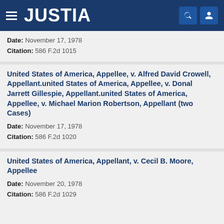JUSTIA
Date: November 17, 1978
Citation: 586 F.2d 1015
United States of America, Appellee, v. Alfred David Crowell, Appellant.united States of America, Appellee, v. Donal Jarrett Gillespie, Appellant.united States of America, Appellee, v. Michael Marion Robertson, Appellant (two Cases)
Date: November 17, 1978
Citation: 586 F.2d 1020
United States of America, Appellant, v. Cecil B. Moore, Appellee
Date: November 20, 1978
Citation: 586 F.2d 1029